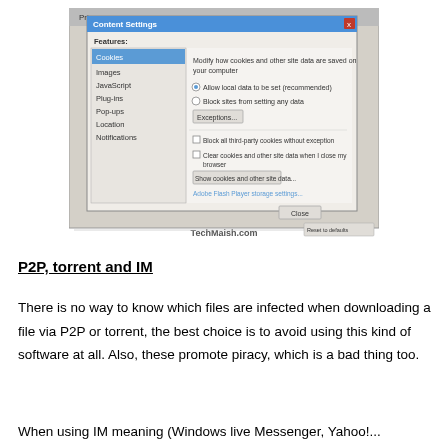[Figure (screenshot): Screenshot of Chrome Content Settings dialog showing Cookies selected in Features list, with options: Modify how cookies and other site data are saved on your computer, Allow local data to be set (recommended) radio selected, Block sites from setting any data radio, Exceptions button, checkboxes for Block all third-party cookies without exception and Clear cookies and other site data when I close my browser, Show cookies and other site data button, Adobe Flash Player storage settings link, and Close button at bottom. Watermark 'TechMaish.com' visible at bottom.]
P2P, torrent and IM
There is no way to know which files are infected when downloading a file via P2P or torrent, the best choice is to avoid using this kind of software at all. Also, these promote piracy, which is a bad thing too.
When using IM meaning (Windows live Messenger, Yahoo!...